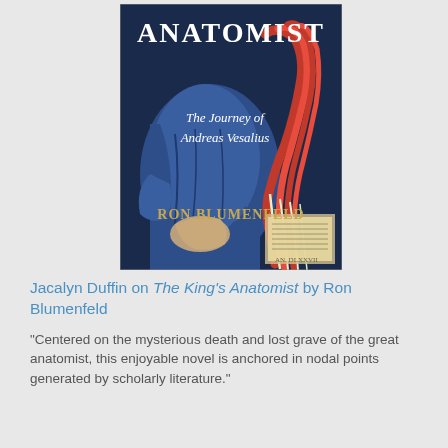[Figure (illustration): Book cover of 'The King's Anatomist: The Journey of Andreas Vesalius' by Ron Blumenfeld. The cover shows a historical illustration of a man in blue robes dissecting or handling anatomical muscles and tendons, with text 'ANATOMIST' at the top, 'The Journey of Andreas Vesalius' in italic script in the middle, and 'RON BLUMENFELD' in gold letters at the bottom.]
Jacalyn Duffin on The King's Anatomist by Ron Blumenfeld
“Centered on the mysterious death and lost grave of the great anatomist, this enjoyable novel is anchored in nodal points generated by scholarly literature.”